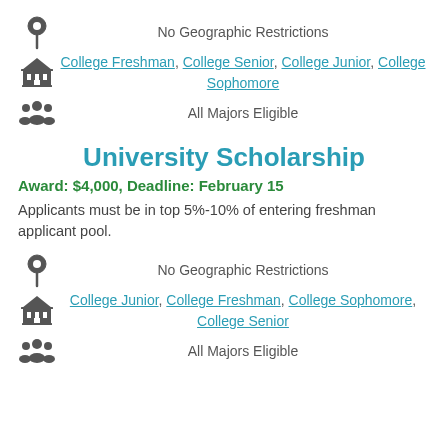No Geographic Restrictions
College Freshman, College Senior, College Junior, College Sophomore
All Majors Eligible
University Scholarship
Award: $4,000, Deadline: February 15
Applicants must be in top 5%-10% of entering freshman applicant pool.
No Geographic Restrictions
College Junior, College Freshman, College Sophomore, College Senior
All Majors Eligible